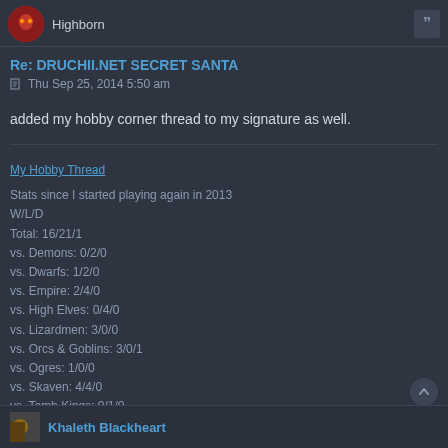Highborn
Re: DRUCHII.NET SECRET SANTA
Thu Sep 25, 2014 5:50 am
added my hobby corner thread to my signature as well.
My Hobby Thread
Stats since I started playing again in 2013
W/L/D
Total: 16/21/1
vs. Demons: 0/2/0
vs. Dwarfs: 1/2/0
vs. Empire: 2/4/0
vs. High Elves: 0/4/0
vs. Lizardmen: 3/0/0
vs. Orcs & Goblins: 3/0/1
vs. Ogres: 1/0/0
vs. Skaven: 4/4/0
vs. Tomb Kings: 0/1/0
vs. Warriors of Chaos: 0/3/0
vs. Wood Elves: 2/1/0
Khaleth Blackheart